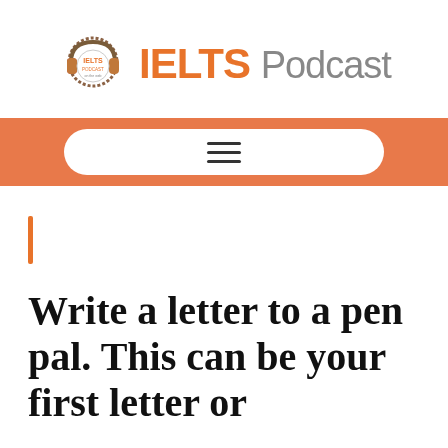[Figure (logo): IELTS Podcast logo with headphone icon and orange IELTS text followed by grey Podcast text]
[Figure (other): Orange navigation bar with white pill-shaped button containing a hamburger menu icon]
[Figure (other): Orange vertical accent bar]
Write a letter to a pen pal. This can be your first letter or